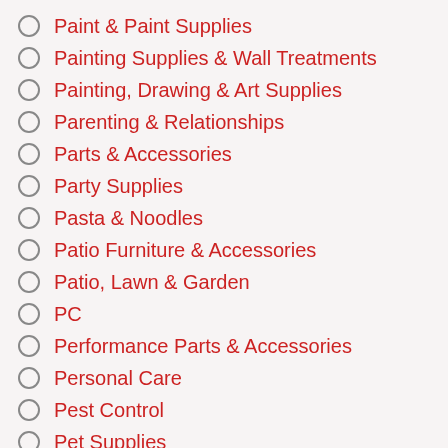Paint & Paint Supplies
Painting Supplies & Wall Treatments
Painting, Drawing & Art Supplies
Parenting & Relationships
Parts & Accessories
Party Supplies
Pasta & Noodles
Patio Furniture & Accessories
Patio, Lawn & Garden
PC
Performance Parts & Accessories
Personal Care
Pest Control
Pet Supplies
PlayStation 3